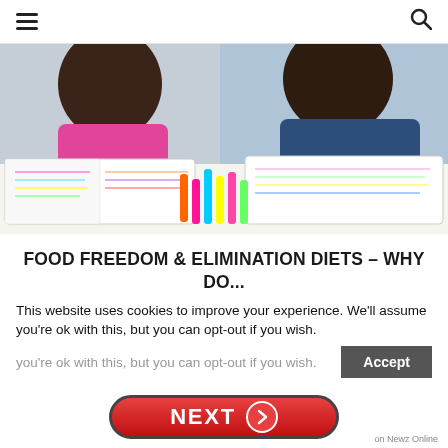≡  🔍
[Figure (photo): Two young women with long dark hair sitting behind a table covered with open notebooks, colorful highlighters, and markers. One wears a pink top, the other a dark blue top.]
FOOD FREEDOM & ELIMINATION DIETS – WHY DO...
This website uses cookies to improve your experience. We'll assume you're ok with this, but you can opt-out if you wish.
Accept
NEXT
on Newz Online